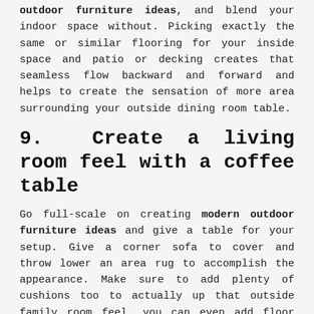outdoor furniture ideas, and blend your indoor space without. Picking exactly the same or similar flooring for your inside space and patio or decking creates that seamless flow backward and forward and helps to create the sensation of more area surrounding your outside dining room table.
9. Create a living room feel with a coffee table
Go full-scale on creating modern outdoor furniture ideas and give a table for your setup. Give a corner sofa to cover and throw lower an area rug to accomplish the appearance. Make sure to add plenty of cushions too to actually up that outside family room feel, you can even add floor cushions for any laid-back vibe and a few extra seating.
10. Add a swing chair to save on space